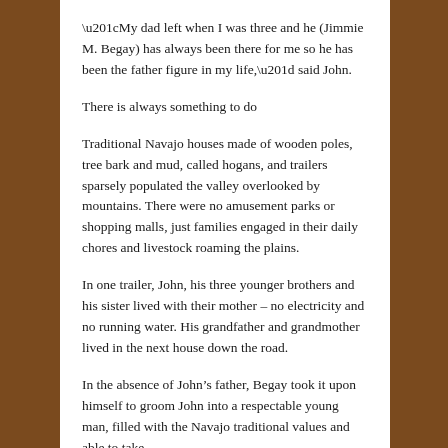“My dad left when I was three and he (Jimmie M. Begay) has always been there for me so he has been the father figure in my life,” said John.
There is always something to do
Traditional Navajo houses made of wooden poles, tree bark and mud, called hogans, and trailers sparsely populated the valley overlooked by mountains. There were no amusement parks or shopping malls, just families engaged in their daily chores and livestock roaming the plains.
In one trailer, John, his three younger brothers and his sister lived with their mother – no electricity and no running water. His grandfather and grandmother lived in the next house down the road.
In the absence of John’s father, Begay took it upon himself to groom John into a respectable young man, filled with the Navajo traditional values and able to take